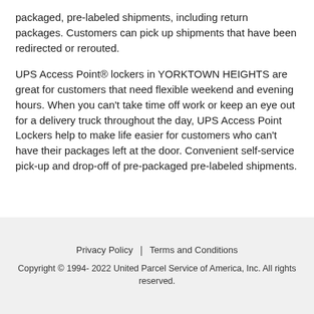packaged, pre-labeled shipments, including return packages. Customers can pick up shipments that have been redirected or rerouted.
UPS Access Point® lockers in YORKTOWN HEIGHTS are great for customers that need flexible weekend and evening hours. When you can't take time off work or keep an eye out for a delivery truck throughout the day, UPS Access Point Lockers help to make life easier for customers who can't have their packages left at the door. Convenient self-service pick-up and drop-off of pre-packaged pre-labeled shipments.
Privacy Policy | Terms and Conditions
Copyright © 1994- 2022 United Parcel Service of America, Inc. All rights reserved.